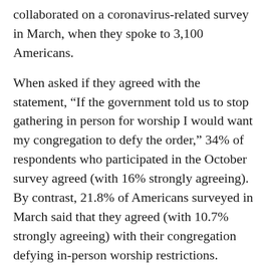collaborated on a coronavirus-related survey in March, when they spoke to 3,100 Americans.
When asked if they agreed with the statement, “If the government told us to stop gathering in person for worship I would want my congregation to defy the order,” 34% of respondents who participated in the October survey agreed (with 16% strongly agreeing). By contrast, 21.8% of Americans surveyed in March said that they agreed (with 10.7% strongly agreeing) with their congregation defying in-person worship restrictions.